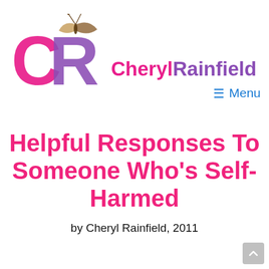[Figure (logo): CherylRainfield website logo: large pink 'C' and purple 'R' letters with a small butterfly graphic, followed by the site name 'CherylRainfield' in pink and purple]
≡ Menu
Helpful Responses To Someone Who's Self-Harmed
by Cheryl Rainfield, 2011